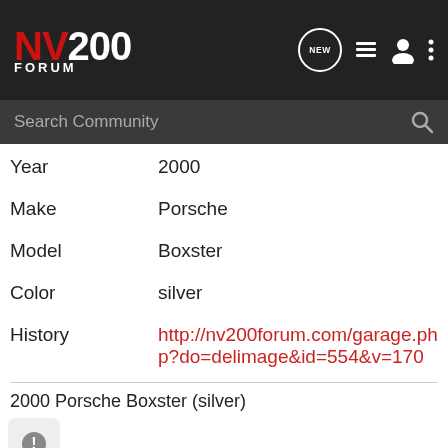NV200 FORUM
| Field | Value |
| --- | --- |
| Year | 2000 |
| Make | Porsche |
| Model | Boxster |
| Color | silver |
| History | http://nv200forum.com/garage.php?do=delimage&id=554&v=170 |
2000 Porsche Boxster (silver)
Gallery